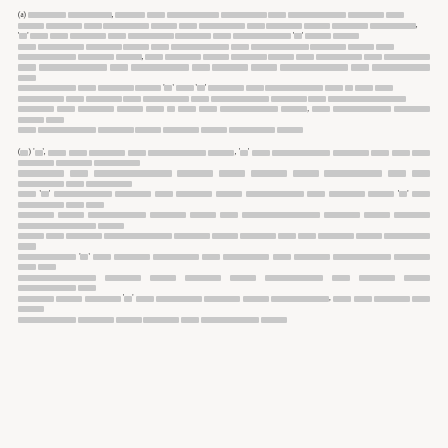(a) [redacted legal text paragraph beginning with (a)]
(b) [redacted legal text paragraph beginning with (b)]